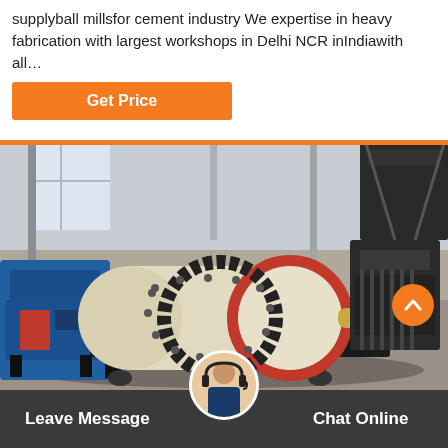supplyball millsfor cement industry We expertise in heavy fabrication with largest workshops in Delhi NCR inIndiawith all…
[Figure (photo): Industrial ball mill machine in a manufacturing workshop. The equipment is large, cylindrical, cream and red colored with black gear ring, mounted on a black steel frame. Blue crushing equipment visible on the left. Industrial shed interior with steel columns and natural lighting.]
Leave Message   Chat Online